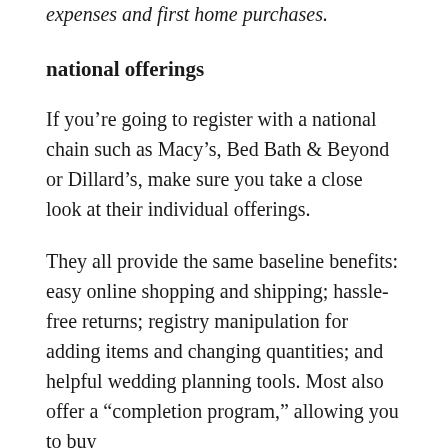expenses and first home purchases.
national offerings
If you’re going to register with a national chain such as Macy’s, Bed Bath & Beyond or Dillard’s, make sure you take a close look at their individual offerings.
They all provide the same baseline benefits: easy online shopping and shipping; hassle-free returns; registry manipulation for adding items and changing quantities; and helpful wedding planning tools. Most also offer a “completion program,” allowing you to buy